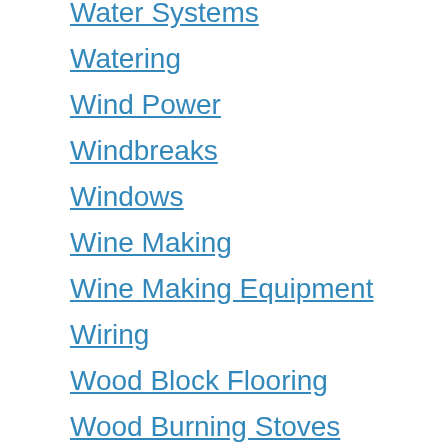Water Systems
Watering
Wind Power
Windbreaks
Windows
Wine Making
Wine Making Equipment
Wiring
Wood Block Flooring
Wood Burning Stoves
Wood Flooring
Woodworking
woodworking tools
Woodworm